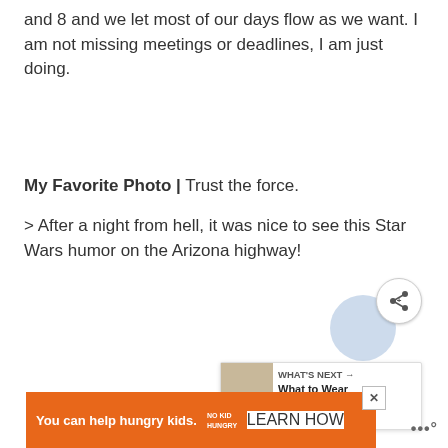and 8 and we let most of our days flow as we want. I am not missing meetings or deadlines, I am just doing.
My Favorite Photo | Trust the force.
> After a night from hell, it was nice to see this Star Wars humor on the Arizona highway!
[Figure (photo): Placeholder photo area (light gray rectangle) with share button overlay, chevron circle graphic, and 'What's Next' overlay card showing 'What to Wear in Paris: Tip...']
You can help hungry kids. NO KID HUNGRY LEARN HOW